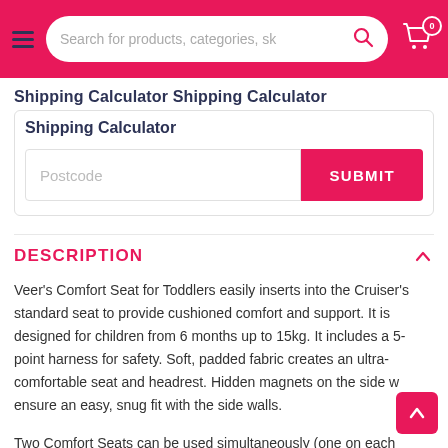Search for products, categories, sk
Shipping Calculator
Postcode
SUBMIT
DESCRIPTION
Veer's Comfort Seat for Toddlers easily inserts into the Cruiser's standard seat to provide cushioned comfort and support. It is designed for children from 6 months up to 15kg. It includes a 5-point harness for safety. Soft, padded fabric creates an ultra-comfortable seat and headrest. Hidden magnets on the side walls ensure an easy, snug fit with the side walls.
Two Comfort Seats can be used simultaneously (one on each seat). The cruiser will fold when using one Toddler Seat. Comfort Seats